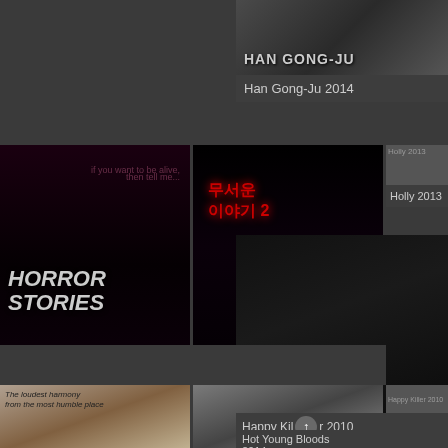[Figure (screenshot): Movie grid listing page showing Korean films]
Han Gong-Ju 2014
[Figure (photo): Horror Story 2012 movie poster - woman with frightened expression]
Horror Story 2012
[Figure (photo): Horror Stories 2 movie poster - group of faces in circle]
Horror Stories 2 2...
[Figure (photo): Holly 2013 small thumbnail]
Holly 2013
[Figure (photo): Hwayi: A Monster Boy 2013 movie poster]
Hwayi 2013
[Figure (photo): Bottom left movie poster - chorus/harmony themed]
[Figure (photo): Bottom center movie poster - person with camera]
[Figure (photo): Happy Killer 2010 small thumbnail]
Happy Killer 2010
[Figure (photo): Hot Young Bloods 2014 small thumbnail]
Hot Young Bloods 2014